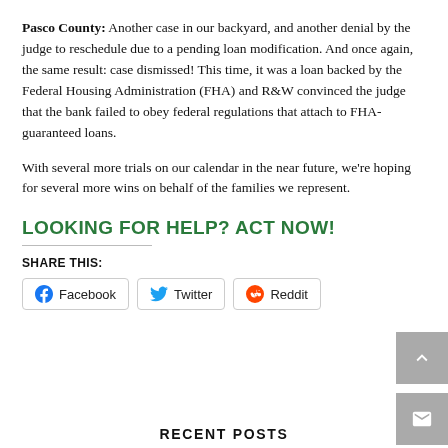Pasco County: Another case in our backyard, and another denial by the judge to reschedule due to a pending loan modification. And once again, the same result: case dismissed! This time, it was a loan backed by the Federal Housing Administration (FHA) and R&W convinced the judge that the bank failed to obey federal regulations that attach to FHA-guaranteed loans.
With several more trials on our calendar in the near future, we're hoping for several more wins on behalf of the families we represent.
LOOKING FOR HELP? ACT NOW!
SHARE THIS:
Facebook   Twitter   Reddit
RECENT POSTS